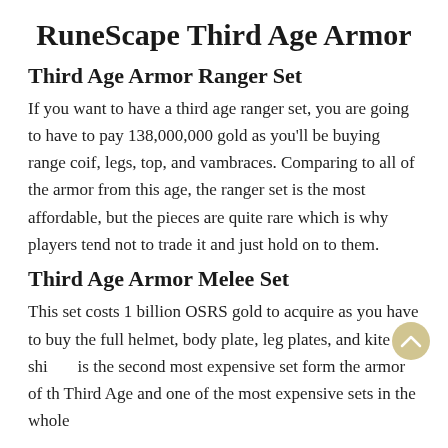RuneScape Third Age Armor
Third Age Armor Ranger Set
If you want to have a third age ranger set, you are going to have to pay 138,000,000 gold as you'll be buying range coif, legs, top, and vambraces. Comparing to all of the armor from this age, the ranger set is the most affordable, but the pieces are quite rare which is why players tend not to trade it and just hold on to them.
Third Age Armor Melee Set
This set costs 1 billion OSRS gold to acquire as you have to buy the full helmet, body plate, leg plates, and kite shi is the second most expensive set form the armor of the Third Age and one of the most expensive sets in the whole